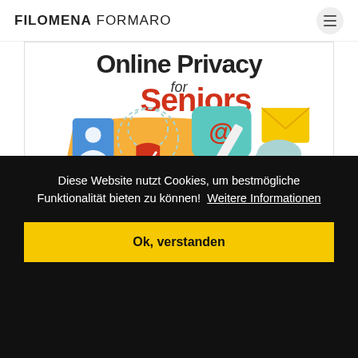FILOMENA FORMARO
[Figure (illustration): Book cover illustration for 'Online Privacy for Seniors' showing digital privacy icons: person profile, @ symbol in speech bubble, envelope, search bar, security shield with checkmark, folder, and cloud icons on colorful background.]
Diese Website nutzt Cookies, um bestmögliche Funktionalität bieten zu können!  Weitere Informationen
Ok, verstanden